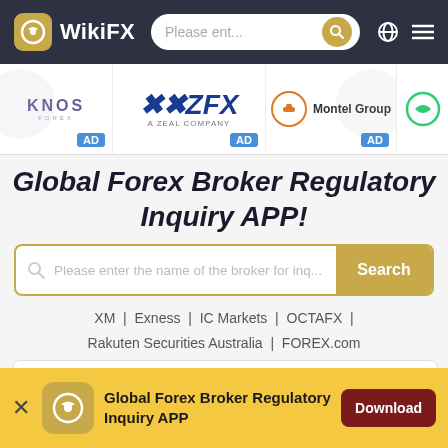WikiFX — Please ent...
[Figure (screenshot): Ad strip with KNOS, ZFX A Zeal Company, Montel Group, and another broker logos with AD badges]
Global Forex Broker Regulatory Inquiry APP!
Please enter the name of the broker for inq... Search
XM | Exness | IC Markets | OCTAFX | Rakuten Securities Australia | FOREX.com
[Figure (screenshot): Partial card preview at bottom]
Global Forex Broker Regulatory Inquiry APP  Download